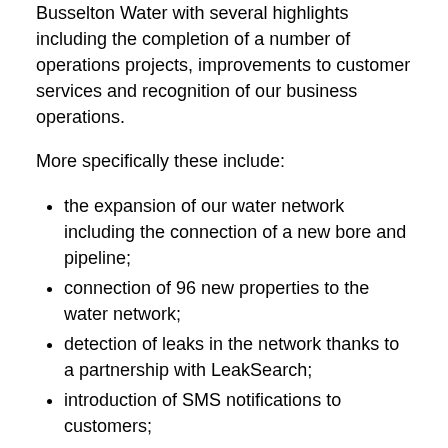Busselton Water with several highlights including the completion of a number of operations projects, improvements to customer services and recognition of our business operations.
More specifically these include:
the expansion of our water network including the connection of a new bore and pipeline;
connection of 96 new properties to the water network;
detection of leaks in the network thanks to a partnership with LeakSearch;
introduction of SMS notifications to customers;
implementation of an action plan based on feedback received from our customer survey;
increased functionality of MyBusseltonWater, an online customer account management tool;
ongoing strong engagement with our Customer Advisory Group;